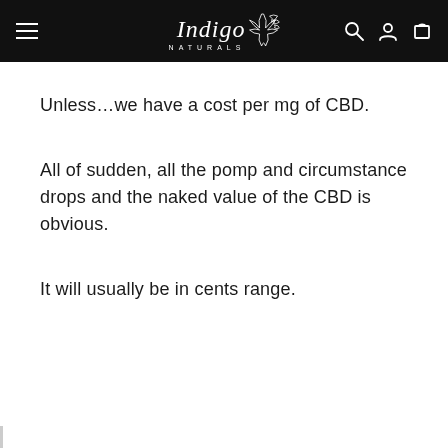Indigo Naturals
Unless...we have a cost per mg of CBD.
All of sudden, all the pomp and circumstance drops and the naked value of the CBD is obvious.
It will usually be in cents range.